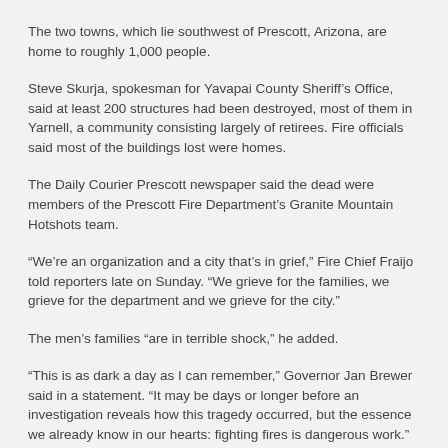The two towns, which lie southwest of Prescott, Arizona, are home to roughly 1,000 people.
Steve Skurja, spokesman for Yavapai County Sheriff's Office, said at least 200 structures had been destroyed, most of them in Yarnell, a community consisting largely of retirees. Fire officials said most of the buildings lost were homes.
The Daily Courier Prescott newspaper said the dead were members of the Prescott Fire Department's Granite Mountain Hotshots team.
“We’re an organization and a city that’s in grief,” Fire Chief Fraijo told reporters late on Sunday. “We grieve for the families, we grieve for the department and we grieve for the city.”
The men’s families “are in terrible shock,” he added.
“This is as dark a day as I can remember,” Governor Jan Brewer said in a statement. “It may be days or longer before an investigation reveals how this tragedy occurred, but the essence we already know in our hearts: fighting fires is dangerous work.”
The Yarnell Hills fire was one of dozens of wildfires in several western U.S. states in recent weeks. Experts have said the current fire season could be one of the worst on record.